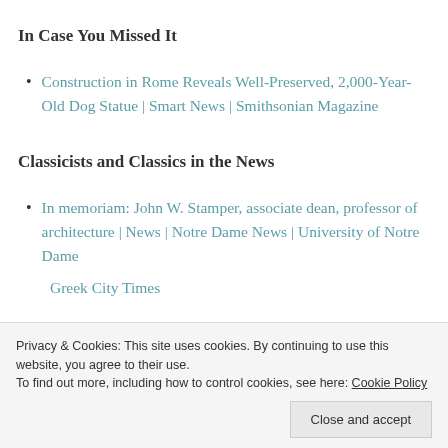In Case You Missed It
Construction in Rome Reveals Well-Preserved, 2,000-Year-Old Dog Statue | Smart News | Smithsonian Magazine
Classicists and Classics in the News
In memoriam: John W. Stamper, associate dean, professor of architecture | News | Notre Dame News | University of Notre Dame
Greek City Times
Privacy & Cookies: This site uses cookies. By continuing to use this website, you agree to their use.
To find out more, including how to control cookies, see here: Cookie Policy
Close and accept